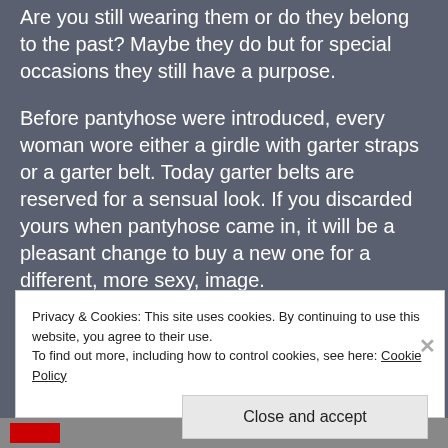Are you still wearing them or do they belong to the past? Maybe they do but for special occasions they still have a purpose.
Before pantyhose were introduced, every woman wore either a girdle with garter straps or a garter belt. Today garter belts are reserved for a sensual look. If you discarded yours when pantyhose came in, it will be a pleasant change to buy a new one for a different, more sexy, image.
Privacy & Cookies: This site uses cookies. By continuing to use this website, you agree to their use.
To find out more, including how to control cookies, see here: Cookie Policy
Close and accept